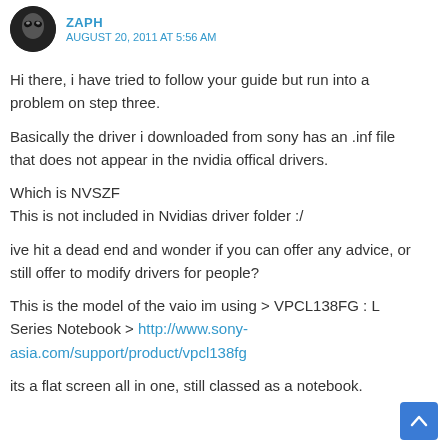[Figure (illustration): User avatar: circular dark profile image with alien/robot icon for user ZAPH]
ZAPH
AUGUST 20, 2011 AT 5:56 AM
Hi there, i have tried to follow your guide but run into a problem on step three.
Basically the driver i downloaded from sony has an .inf file that does not appear in the nvidia offical drivers.
Which is NVSZF
This is not included in Nvidias driver folder :/
ive hit a dead end and wonder if you can offer any advice, or still offer to modify drivers for people?
This is the model of the vaio im using > VPCL138FG : L Series Notebook > http://www.sony-asia.com/support/product/vpcl138fg
its a flat screen all in one, still classed as a notebook.